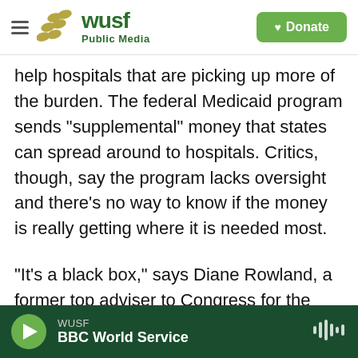[Figure (logo): WUSF Public Media logo with hamburger menu icon and green Donate button]
help hospitals that are picking up more of the burden. The federal Medicaid program sends "supplemental" money that states can spread around to hospitals. Critics, though, say the program lacks oversight and there's no way to know if the money is really getting where it is needed most.
"It's a black box," says Diane Rowland, a former top adviser to Congress for the Medicaid program. "You can see how much is going out in different parts, but it's not very clear, always, where it's going. ... It hurts targeting the funds to the most needy places
WUSF | BBC World Service